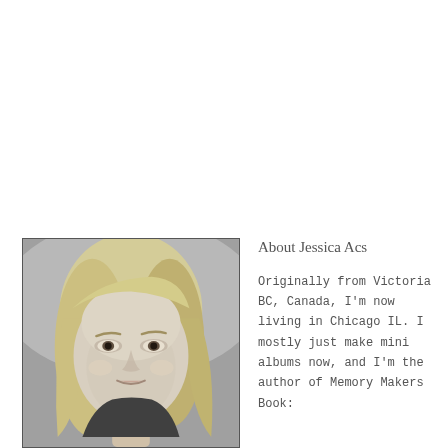[Figure (photo): Black and white portrait photo of Jessica Acs, a woman with straight blonde/light hair, looking slightly to the side with a gentle expression.]
About Jessica Acs
Originally from Victoria BC, Canada, I'm now living in Chicago IL. I mostly just make mini albums now, and I'm the author of Memory Makers Book: